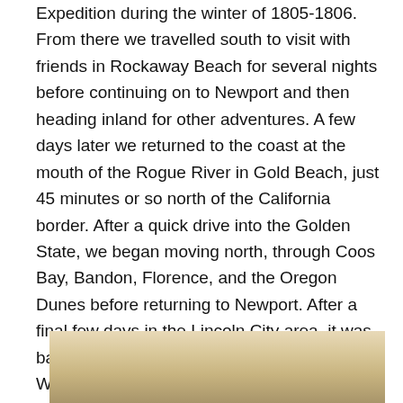Expedition during the winter of 1805-1806. From there we travelled south to visit with friends in Rockaway Beach for several nights before continuing on to Newport and then heading inland for other adventures. A few days later we returned to the coast at the mouth of the Rogue River in Gold Beach, just 45 minutes or so north of the California border. After a quick drive into the Golden State, we began moving north, through Coos Bay, Bandon, Florence, and the Oregon Dunes before returning to Newport. After a final few days in the Lincoln City area, it was back up the Columbia River Gorge to Washington and back to work! Here are some of my favorite images from the trip, arranged from north to south:
[Figure (photo): Partially visible photograph showing a pale sandy/warm tan gradient sky scene, cropped at the bottom of the page]